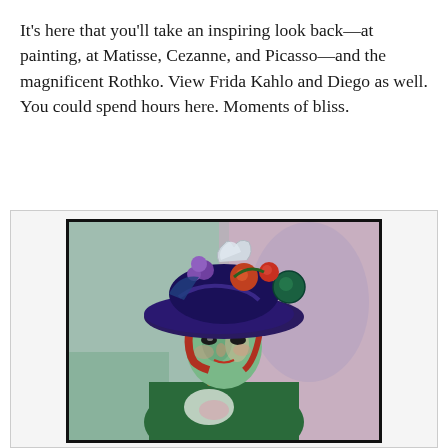It's here that you'll take an inspiring look back—at painting, at Matisse, Cezanne, and Picasso—and the magnificent Rothko. View Frida Kahlo and Diego as well. You could spend hours here. Moments of bliss.
[Figure (illustration): A Fauvist-style painting of a woman wearing a large ornate hat with flowers and fruit on top. The woman's face is rendered in greens and pinks, and she wears a colorful dress. The background features loose brushwork in greens, pinks, and purples. Style resembles Matisse's 'Woman with a Hat'.]